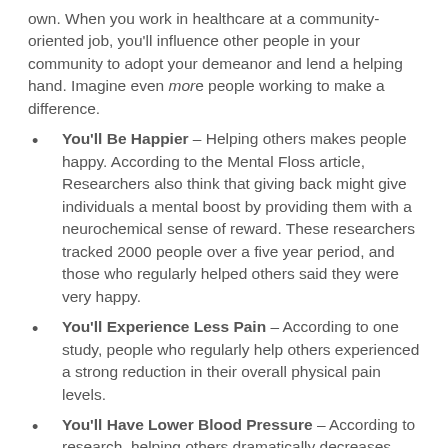own. When you work in healthcare at a community-oriented job, you'll influence other people in your community to adopt your demeanor and lend a helping hand. Imagine even more people working to make a difference.
You'll Be Happier – Helping others makes people happy. According to the Mental Floss article, Researchers also think that giving back might give individuals a mental boost by providing them with a neurochemical sense of reward. These researchers tracked 2000 people over a five year period, and those who regularly helped others said they were very happy.
You'll Experience Less Pain – According to one study, people who regularly help others experienced a strong reduction in their overall physical pain levels.
You'll Have Lower Blood Pressure – According to research, helping others dramatically decreases loneliness and increases social activity. If you're talking with and helping kids all day, your routine won't be full of awkward